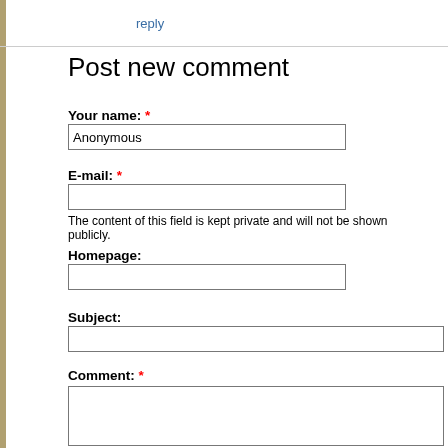reply
Post new comment
Your name: *
E-mail: *
The content of this field is kept private and will not be shown publicly.
Homepage:
Subject:
Comment: *